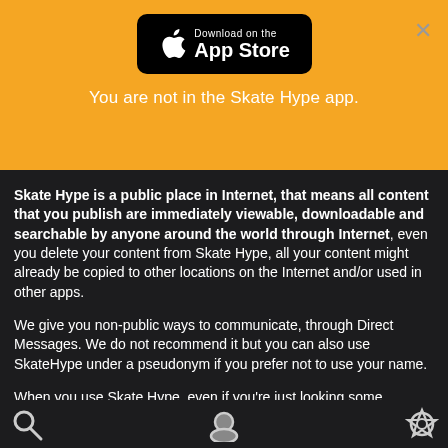[Figure (logo): Download on the App Store badge (black rounded rectangle with Apple logo)]
You are not in the Skate Hype app.
Skate Hype is a public place in Internet, that means all content that you publish are immediately viewable, downloadable and searchable by anyone around the world through Internet, even you delete your content from Skate Hype, all your content might already be copied to other locations on the Internet and/or used in other apps.
We give you non-public ways to communicate, through Direct Messages. We do not recommend it but you can also use SkateHype under a pseudonym if you prefer not to use your name.
When you use Skate Hype, even if you’re just looking some content, we receive some personal information from you like the type of device you’re using and your IP address. If you are a registered user you share additional information like name, address and age on a public profile. Your email address is private.